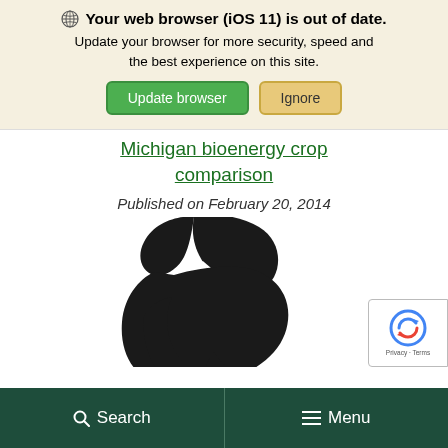Your web browser (iOS 11) is out of date. Update your browser for more security, speed and the best experience on this site.
Update browser | Ignore
Michigan bioenergy crop comparison
Published on February 20, 2014
[Figure (logo): Michigan State University Spartan helmet logo in black silhouette]
[Figure (other): Google reCAPTCHA badge with Privacy and Terms links]
Search | Menu